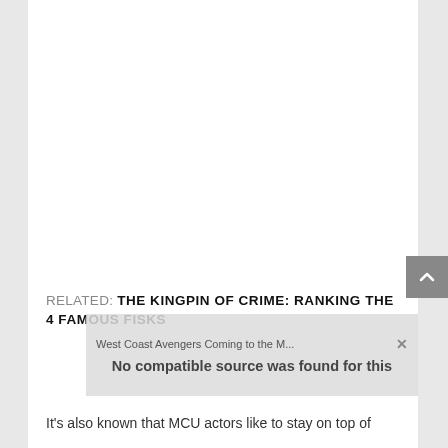[Figure (other): Large white blank area, likely where an image or video was embedded but is not visible]
RELATED: THE KINGPIN OF CRIME: RANKING THE 4 FAMOUS FISKS
[Figure (screenshot): Video player overlay showing 'West Coast Avengers Coming to the M...' with a close button and 'No compatible source was found for this' message]
It's also known that MCU actors like to stay on top of